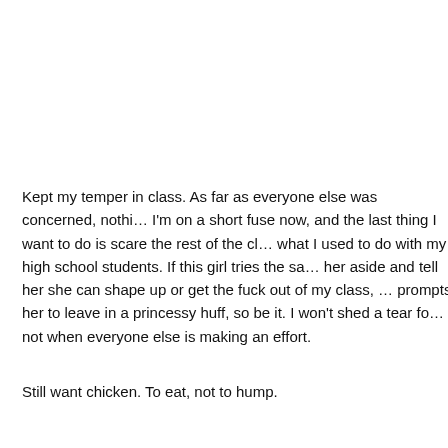[Figure (screenshot): Photobucket placeholder image showing 'Sorry. This Image Is currently Unavailable' with Photobucket logo at bottom.]
Kept my temper in class. As far as everyone else was concerned, nothing happened. I'm on a short fuse now, and the last thing I want to do is scare the rest of the class. That's not what I used to do with my high school students. If this girl tries the same thing again, I'll pull her aside and tell her she can shape up or get the fuck out of my class, and if that prompts her to leave in a princessy huff, so be it. I won't shed a tear for her absence, not when everyone else is making an effort.
Still want chicken. To eat, not to hump.